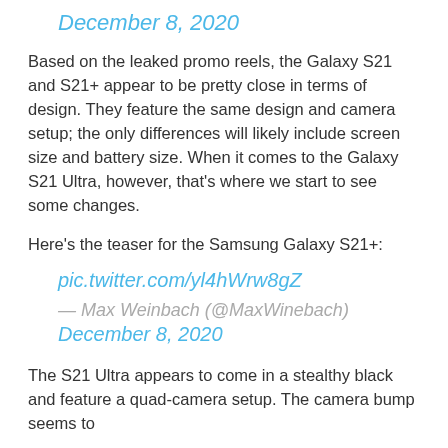December 8, 2020
Based on the leaked promo reels, the Galaxy S21 and S21+ appear to be pretty close in terms of design. They feature the same design and camera setup; the only differences will likely include screen size and battery size. When it comes to the Galaxy S21 Ultra, however, that's where we start to see some changes.
Here's the teaser for the Samsung Galaxy S21+:
pic.twitter.com/yl4hWrw8gZ
— Max Weinbach (@MaxWinebach)
December 8, 2020
The S21 Ultra appears to come in a stealthy black and feature a quad-camera setup. The camera bump seems to